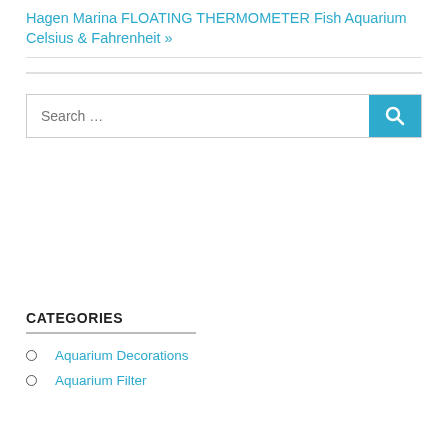Hagen Marina FLOATING THERMOMETER Fish Aquarium Celsius & Fahrenheit »
Search …
CATEGORIES
Aquarium Decorations
Aquarium Filter